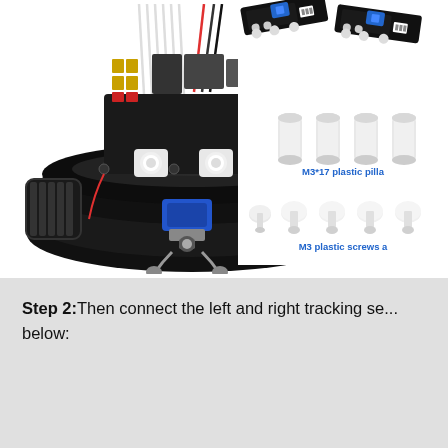[Figure (photo): Assembled robot with omnidirectional wheels, ultrasonic sensor eyes, servo motor, and wiring visible from front/top view. Top right shows electronic tracking sensor modules, white plastic pillars (M3*17), and M3 plastic screws.]
Step 2: Then connect the left and right tracking sensors as shown below: